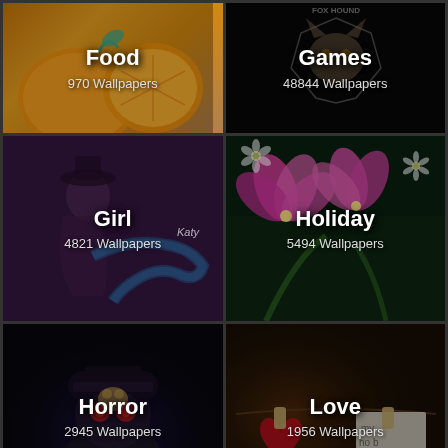[Figure (screenshot): Food wallpaper category tile with orange fruit background. Shows 'Food' title and '970 Wallpapers' count.]
[Figure (screenshot): Games wallpaper category tile with Fox Hound logo on black background. Shows 'Games' title and '48844 Wallpapers' count.]
[Figure (screenshot): Girl wallpaper category tile with purple/dark fantasy art of woman with snake. Shows 'Girl' title and '4821 Wallpapers' count with 'Katy' watermark.]
[Figure (screenshot): Holiday wallpaper category tile with pink lily flowers on green background. Shows 'Holiday' title and '5494 Wallpapers' count.]
[Figure (screenshot): Horror wallpaper category tile with dark FNAF-style bear character. Shows 'Horror' title and '2945 Wallpapers' count.]
[Figure (screenshot): Love wallpaper category tile with heart and clothespin note on dark warm background. Shows 'Love' title and '1956 Wallpapers' count.]
[Figure (screenshot): Social sharing bar with Facebook, Twitter, Pinterest, Reddit, Tumblr, and Share buttons.]